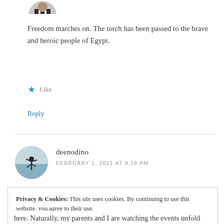[Figure (illustration): Partial circular avatar image of a person in suit, cropped at top]
Freedom marches on. The torch has been passed to the brave and heroic people of Egypt.
★ Like
Reply
[Figure (photo): Circular avatar photo of a person jumping on a beach/waterfront]
deenodino
FEBRUARY 1, 2011 AT 9:18 PM
Privacy & Cookies: This site uses cookies. By continuing to use this website, you agree to their use.
To find out more, including how to control cookies, see here: Cookie Policy
Close and accept
here. Naturally, my parents and I are watching the events unfold